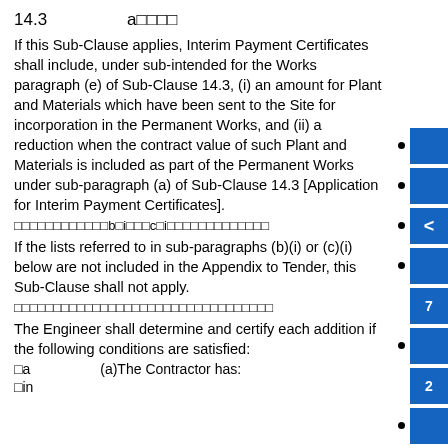14.3    a□□□□
If this Sub-Clause applies, Interim Payment Certificates shall include, under sub-intended for the Works paragraph (e) of Sub-Clause 14.3, (i) an amount for Plant and Materials which have been sent to the Site for incorporation in the Permanent Works, and (ii) a reduction when the contract value of such Plant and Materials is included as part of the Permanent Works under sub-paragraph (a) of Sub-Clause 14.3 [Application for Interim Payment Certificates].
□□□□□□□□□□□□b□i□□□c□i□□□□□□□□□□□□□
If the lists referred to in sub-paragraphs (b)(i) or (c)(i) below are not included in the Appendix to Tender, this Sub-Clause shall not apply.
□□□□□□□□□□□□□□□□□□□□□□□□□□□□□□□□□
The Engineer shall determine and certify each addition if the following conditions are satisfied:
□a    (a)The Contractor has:
□in